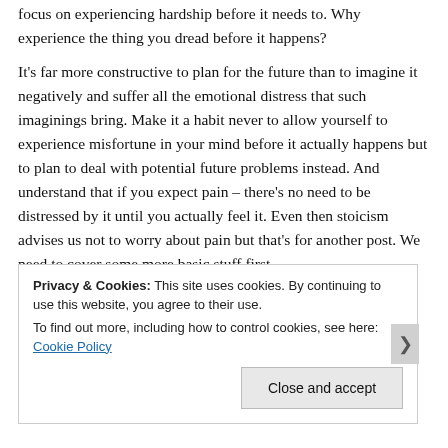focus on experiencing hardship before it needs to. Why experience the thing you dread before it happens?
It's far more constructive to plan for the future than to imagine it negatively and suffer all the emotional distress that such imaginings bring. Make it a habit never to allow yourself to experience misfortune in your mind before it actually happens but to plan to deal with potential future problems instead. And understand that if you expect pain – there's no need to be distressed by it until you actually feel it. Even then stoicism advises us not to worry about pain but that's for another post. We need to cover some more basic stuff first.
Privacy & Cookies: This site uses cookies. By continuing to use this website, you agree to their use. To find out more, including how to control cookies, see here: Cookie Policy